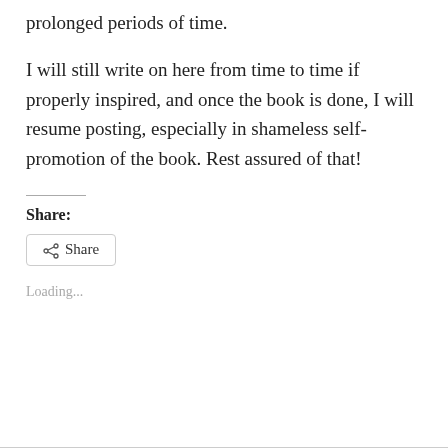prolonged periods of time.
I will still write on here from time to time if properly inspired, and once the book is done, I will resume posting, especially in shameless self-promotion of the book. Rest assured of that!
Share:
[Figure (other): Share button with share icon]
Loading...